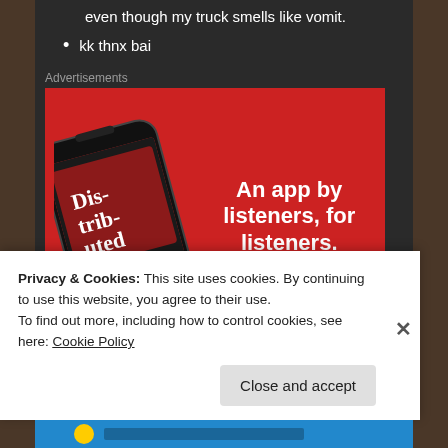even though my truck smells like vomit.
kk thnx bai
Advertisements
[Figure (screenshot): Advertisement banner for Pocket Casts app showing a smartphone with 'Dis-trib-uted' podcast displayed, on a red background with text 'An app by listeners, for listeners.' and a 'Download now' button]
Privacy & Cookies: This site uses cookies. By continuing to use this website, you agree to their use.
To find out more, including how to control cookies, see here: Cookie Policy
Close and accept